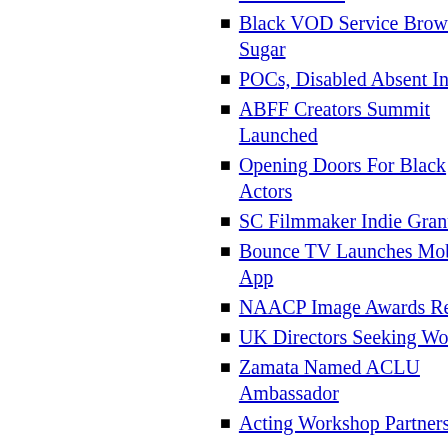Film Festival
Black VOD Service Brown Sugar
POCs, Disabled Absent In Film
ABFF Creators Summit Launched
Opening Doors For Black Actors
SC Filmmaker Indie Grants
Bounce TV Launches Mobile App
NAACP Image Awards Recap
UK Directors Seeking Work
Zamata Named ACLU Ambassador
Acting Workshop Partnership